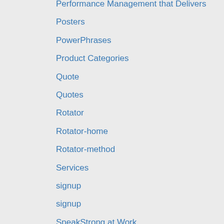Performance Management that Delivers
Posters
PowerPhrases
Product Categories
Quote
Quotes
Rotator
Rotator-home
Rotator-method
Services
signup
signup
SpeakStrong at Work
SpeakStrong Made Easy eCourse
SpeakSTRONG Online